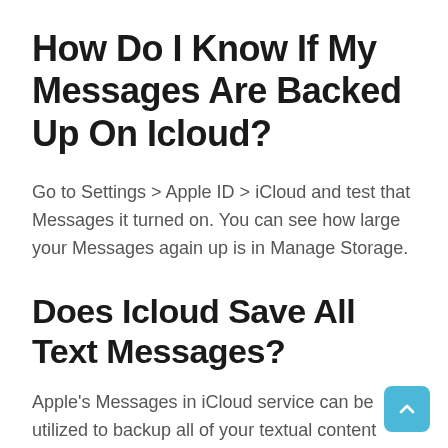How Do I Know If My Messages Are Backed Up On Icloud?
Go to Settings > Apple ID > iCloud and test that Messages it turned on. You can see how large your Messages again up is in Manage Storage.
Does Icloud Save All Text Messages?
Apple's Messages in iCloud service can be utilized to backup all of your textual content messages to the cloud so that you could obtain them to your